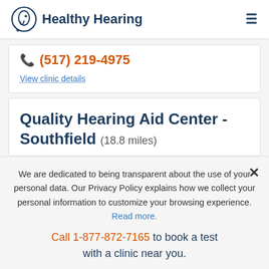Healthy Hearing
(517) 219-4975
View clinic details
Quality Hearing Aid Center - Southfield (18.8 miles)
We are dedicated to being transparent about the use of your personal data. Our Privacy Policy explains how we collect your personal information to customize your browsing experience. Read more.
Call 1-877-872-7165 to book a test with a clinic near you.